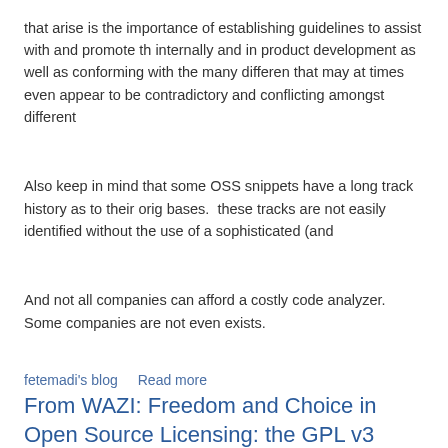that arise is the importance of establishing guidelines to assist with and promote th internally and in product development as well as conforming with the many differen that may at times even appear to be contradictory and conflicting amongst different
Also keep in mind that some OSS snippets have a long track history as to their orig bases.  these tracks are not easily identified without the use of a sophisticated (and
And not all companies can afford a costly code analyzer.  Some companies are not even exists.
fetemadi's blog    Read more
From WAZI: Freedom and Choice in Open Source Licensing: the GPL v3
Posted June 18th, 2009 by Ernest M. Park
Full Story at Wazi
ernest.park's blog    Read more
open source in health care IT
Posted June 10th, 2009 by Eran Strod